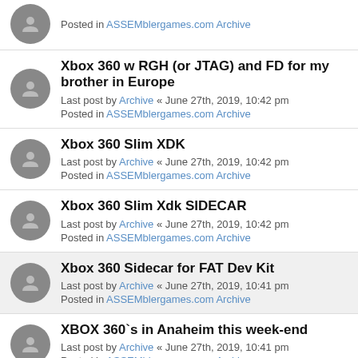Posted in ASSEMblergames.com Archive
Xbox 360 w RGH (or JTAG) and FD for my brother in Europe
Last post by Archive « June 27th, 2019, 10:42 pm
Posted in ASSEMblergames.com Archive
Xbox 360 Slim XDK
Last post by Archive « June 27th, 2019, 10:42 pm
Posted in ASSEMblergames.com Archive
Xbox 360 Slim Xdk SIDECAR
Last post by Archive « June 27th, 2019, 10:42 pm
Posted in ASSEMblergames.com Archive
Xbox 360 Sidecar for FAT Dev Kit
Last post by Archive « June 27th, 2019, 10:41 pm
Posted in ASSEMblergames.com Archive
XBOX 360`s in Anaheim this week-end
Last post by Archive « June 27th, 2019, 10:41 pm
Posted in ASSEMblergames.com Archive
Got it
Search Found More Than 1000 Matches